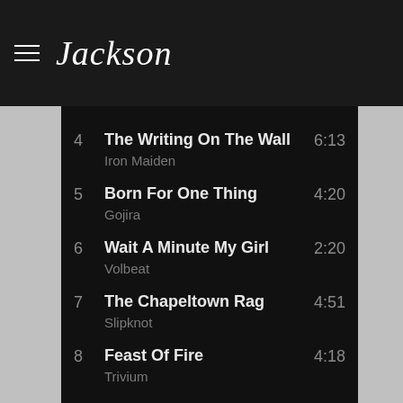Jackson (logo)
4  The Writing On The Wall  Iron Maiden  6:13
5  Born For One Thing  Gojira  4:20
6  Wait A Minute My Girl  Volbeat  2:20
7  The Chapeltown Rag  Slipknot  4:51
8  Feast Of Fire  Trivium  4:18
9  Makenaide  Marty Friedman  3:13
10  Out Of Style  Limp Bizkit  3:22
11  Fierce  4:13